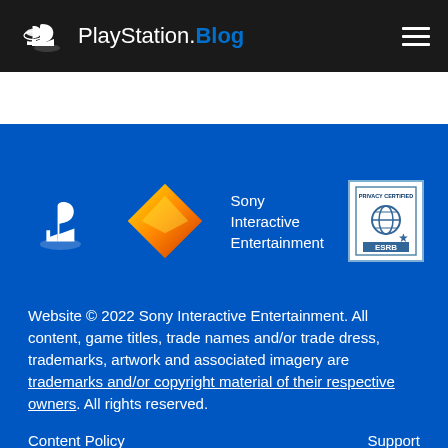PlayStation.Blog
English  ∨    Back to top  ∧
[Figure (logo): PlayStation logo (white), Sony Interactive Entertainment diamond logo (orange/yellow gradient), and ESRB Privacy Certified badge on blue background]
Website © 2022 Sony Interactive Entertainment. All content, game titles, trade names and/or trade dress, trademarks, artwork and associated imagery are trademarks and/or copyright material of their respective owners. All rights reserved.
Content Policy    Support